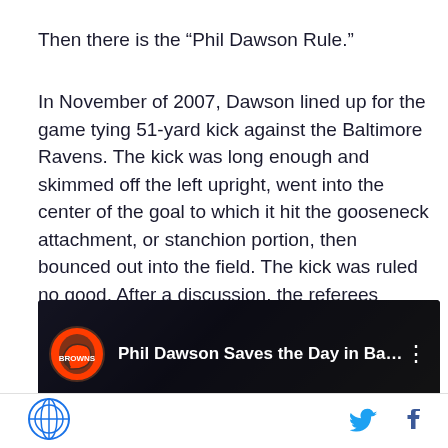Then there is the “Phil Dawson Rule.”
In November of 2007, Dawson lined up for the game tying 51-yard kick against the Baltimore Ravens. The kick was long enough and skimmed off the left upright, went into the center of the goal to which it hit the gooseneck attachment, or stanchion portion, then bounced out into the field. The kick was ruled no good. After a discussion, the referees decided that since the stanchion is located inside the goal posts, the kick must be good.
[Figure (screenshot): Video thumbnail showing Phil Dawson football player, with Cleveland Browns logo and text 'Phil Dawson Saves the Day in Balti...']
SB Nation logo | Twitter icon | Facebook icon